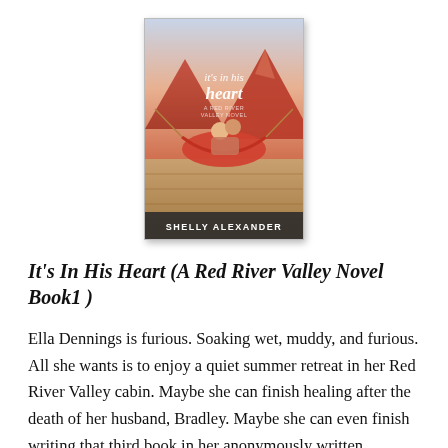[Figure (illustration): Book cover for 'It's In His Heart' by Shelly Alexander. A Red River Valley Novel. Shows a couple embracing in a red hammock on a wooden deck with mountain scenery in the background.]
It's In His Heart (A Red River Valley Novel Book1 )
Ella Dennings is furious. Soaking wet, muddy, and furious. All she wants is to enjoy a quiet summer retreat in her Red River Valley cabin. Maybe she can finish healing after the death of her husband, Bradley. Maybe she can even finish writing that third book in her anonymously written bestselling series. But when she arrives at the cabin in a raging rainstorm, who does she find holed up there but